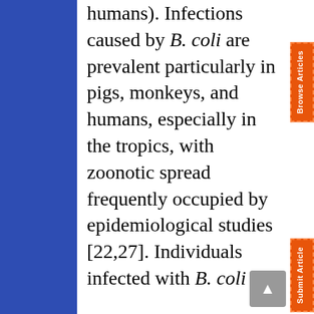humans). Infections caused by B. coli are prevalent particularly in pigs, monkeys, and humans, especially in the tropics, with zoonotic spread frequently occupied by epidemiological studies [22,27]. Individuals infected with B. coli